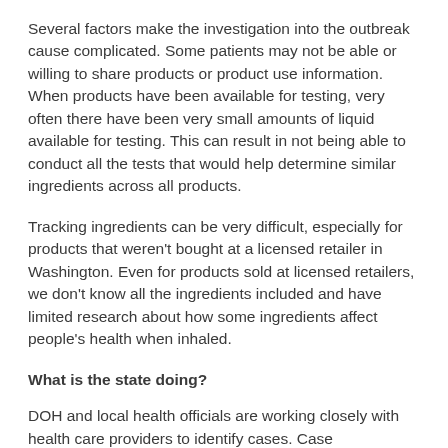Several factors make the investigation into the outbreak cause complicated. Some patients may not be able or willing to share products or product use information. When products have been available for testing, very often there have been very small amounts of liquid available for testing. This can result in not being able to conduct all the tests that would help determine similar ingredients across all products.
Tracking ingredients can be very difficult, especially for products that weren't bought at a licensed retailer in Washington. Even for products sold at licensed retailers, we don't know all the ingredients included and have limited research about how some ingredients affect people's health when inhaled.
What is the state doing?
DOH and local health officials are working closely with health care providers to identify cases. Case investigations involve reviewing medical records, talking with providers, and interviewing patients about their vapor product use.